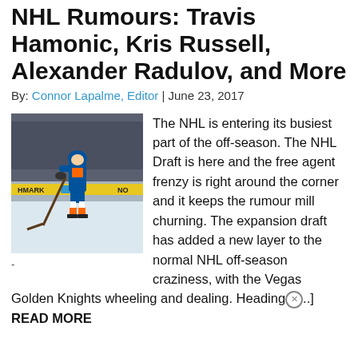NHL Rumours: Travis Hamonic, Kris Russell, Alexander Radulov, and More
By: Connor Lapalme, Editor | June 23, 2017
[Figure (photo): Hockey player wearing New York Islanders uniform skating on ice during a game. Billboard with HMARK and NO visible in background.]
The NHL is entering its busiest part of the off-season. The NHL Draft is here and the free agent frenzy is right around the corner and it keeps the rumour mill churning. The expansion draft has added a new layer to the normal NHL off-season craziness, with the Vegas Golden Knights wheeling and dealing. Heading[...] READ MORE